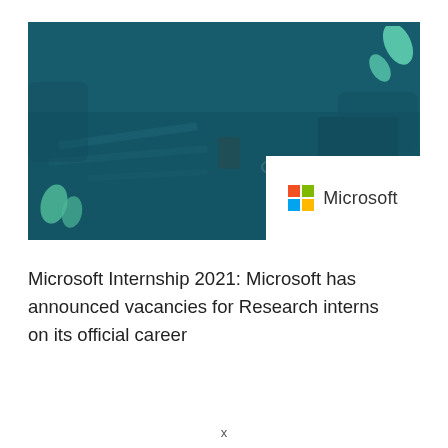[Figure (photo): Hero banner image showing people working at a desk, overlaid with a dark teal color. Microsoft logo in a white box in the bottom-right corner. Decorative mint green blobs in top-right and bottom-left corners.]
Microsoft Internship 2021: Microsoft has announced vacancies for Research interns on its official career